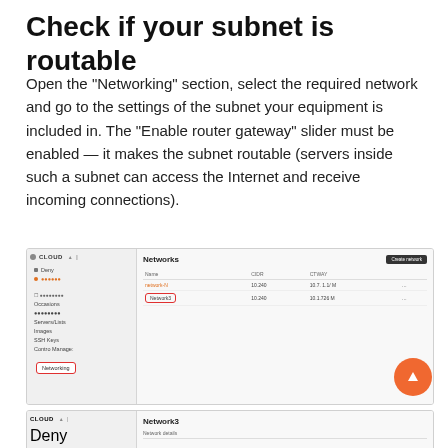Check if your subnet is routable
Open the "Networking" section, select the required network and go to the settings of the subnet your equipment is included in. The "Enable router gateway" slider must be enabled — it makes the subnet routable (servers inside such a subnet can access the Internet and receive incoming connections).
[Figure (screenshot): Cloud UI screenshot showing the Networks list with sidebar navigation including Networking section highlighted in red border. Two networks listed: network-N and Network3 with CIDR and CTWAY columns. Create network button in top right.]
[Figure (screenshot): Cloud UI screenshot showing Network3 detail page with Network details section header visible in the main content area, sidebar shows CLOUD navigation with Deny and another item.]